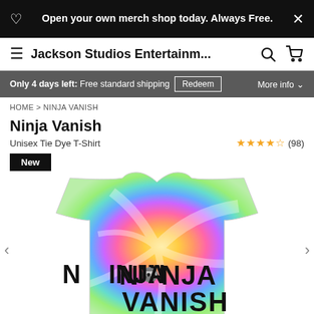Open your own merch shop today. Always Free.
Jackson Studios Entertainm... (search) (cart)
Only 4 days left: Free standard shipping  Redeem  More info
HOME > NINJA VANISH
Ninja Vanish
Unisex Tie Dye T-Shirt   ★★★★½ (98)
New
[Figure (photo): Tie-dye rainbow t-shirt with 'NINJA VANISH' text and ninja character graphic on the chest]